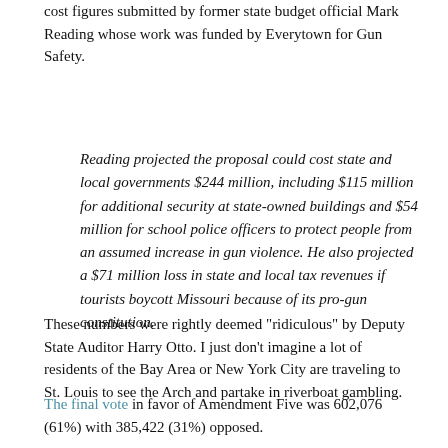cost figures submitted by former state budget official Mark Reading whose work was funded by Everytown for Gun Safety.
Reading projected the proposal could cost state and local governments $244 million, including $115 million for additional security at state-owned buildings and $54 million for school police officers to protect people from an assumed increase in gun violence. He also projected a $71 million loss in state and local tax revenues if tourists boycott Missouri because of its pro-gun constitution.
These numbers were rightly deemed "ridiculous" by Deputy State Auditor Harry Otto. I just don't imagine a lot of residents of the Bay Area or New York City are traveling to St. Louis to see the Arch and partake in riverboat gambling.
The final vote in favor of Amendment Five was 602,076 (61%) with 385,422 (31%) opposed.